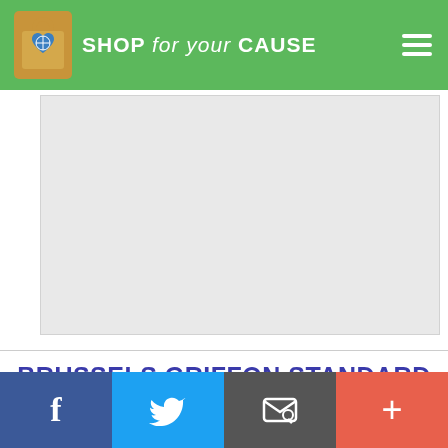SHOP for your CAUSE
[Figure (other): Advertisement or image placeholder block]
BRUSSELS GRIFFON STANDARD SCHNAUZER MIX CARE
[Figure (other): Social share bar with Facebook, Twitter, email, and more buttons]